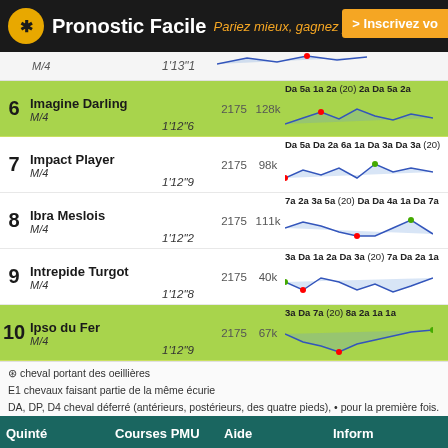Pronostic Facile – Pariez mieux, gagnez plus – > Inscrivez vo
| # | Cheval | Temps | Dist | Prix | Forme |
| --- | --- | --- | --- | --- | --- |
| M/4 |  | 1'13"1 |  |  |  |
| 6 | Imagine Darling M/4 | 1'12"6 | 2175 | 128k | Da 5a 1a 2a (20) 2a Da 5a 2a |
| 7 | Impact Player M/4 | 1'12"9 | 2175 | 98k | Da 5a Da 2a 6a 1a Da 3a Da 3a (20) |
| 8 | Ibra Meslois M/4 | 1'12"2 | 2175 | 111k | 7a 2a 3a 5a (20) Da Da 4a 1a Da 7a |
| 9 | Intrepide Turgot M/4 | 1'12"8 | 2175 | 40k | 3a Da 1a 2a Da 3a (20) 7a Da 2a 1a |
| 10 | Ipso du Fer M/4 | 1'12"9 | 2175 | 67k | 3a Da 7a (20) 8a 2a 1a 1a |
⊛ cheval portant des oeillières
E1 chevaux faisant partie de la même écurie
DA, DP, D4 cheval déferré (antérieurs, postérieurs, des quatre pieds), • pour la première fois.
Quinté | Courses PMU | Aide | Inform
Pronostic Quinté
Quinté du jour
Arrivée du Quinté
Vincennes
Baden Vienne
Baden
Gagner au PMU
Les 8 Règles du Turf
Visuturf
Qui s
Cond
Ment